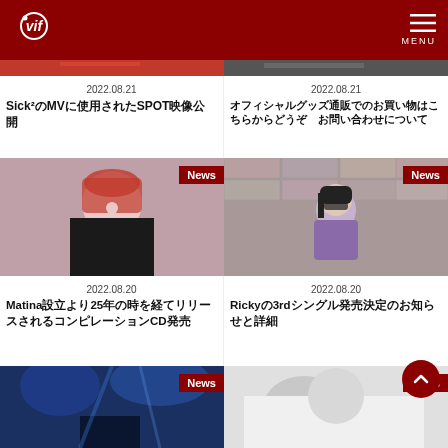Vif — MENU
[Figure (photo): Partially visible image strip at top left]
[Figure (photo): Partially visible image strip at top right]
2022.08.21
Sick²のMVに使用されたSPOT映像公開
2022.08.21
オフィシャルグッズ通販でのお買い物はこちらからどうぞーーお問い合わせについて
[Figure (photo): Person with red hair and dark clothing — News badge]
[Figure (photo): Person in purple jacket with sunglasses against brick wall — News badge]
2022.08.20
Matina設立より25年の時を経てリリースされるコンピレーションCD発売
2022.08.20
Rickyの3rdシングル発売決定のお知らせと詳細
[Figure (photo): Concert stage with blue lighting — News badge]
[Figure (photo): Person in white — News badge]